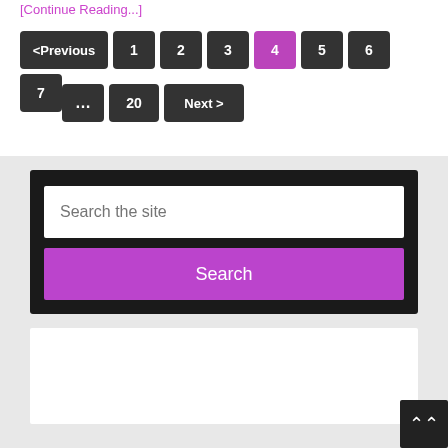[Continue Reading...]
<Previous 1 2 3 4 5 6 7 ... 20 Next >
[Figure (screenshot): Search widget with dark background, text input 'Search the site', and purple Search button]
[Figure (screenshot): White box area below search widget]
[Figure (screenshot): Back to top button with double chevron, dark background, bottom right corner]